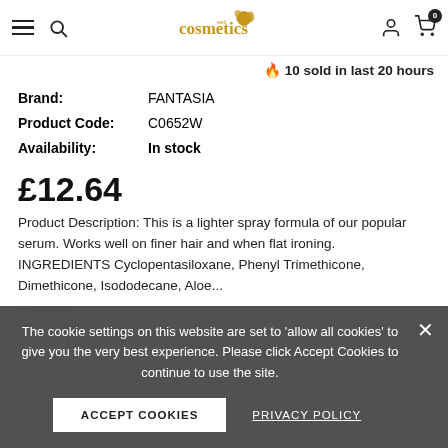cosmetics web - navigation header
🔥 10 sold in last 20 hours
Brand: FANTASIA
Product Code: C0652W
Availability: In stock
£12.64
Product Description: This is a lighter spray formula of our popular serum. Works well on finer hair and when flat ironing. INGREDIENTS Cyclopentasiloxane, Phenyl Trimethicone, Dimethicone, Isododecane, Aloe...
Quantity:
The cookie settings on this website are set to 'allow all cookies' to give you the very best experience. Please click Accept Cookies to continue to use the site.
ACCEPT COOKIES
PRIVACY POLICY